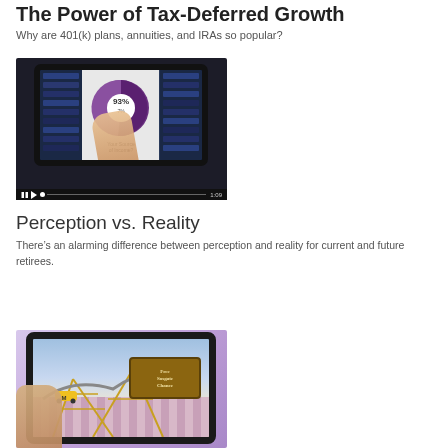The Power of Tax-Deferred Growth
Why are 401(k) plans, annuities, and IRAs so popular?
[Figure (photo): Person holding a tablet showing a financial chart with a pie graph and data bars, with video playback controls showing 1:09 duration]
Perception vs. Reality
There’s an alarming difference between perception and reality for current and future retirees.
[Figure (photo): Person holding a tablet showing a roller coaster ride scene with a sign reading 'Free Sosgate Chance']